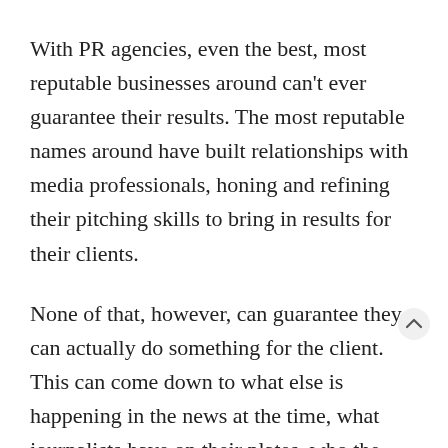With PR agencies, even the best, most reputable businesses around can't ever guarantee their results. The most reputable names around have built relationships with media professionals, honing and refining their pitching skills to bring in results for their clients.
None of that, however, can guarantee they can actually do something for the client. This can come down to what else is happening in the news at the time, what journalists have on their plates, who the competition is, and what they bring to the table. This doesn't factor in what the journalist is actually dealing with, among the numerous other factors that can't even be calcul... It's insanely difficult to understand why your pitch do or don't get responses.